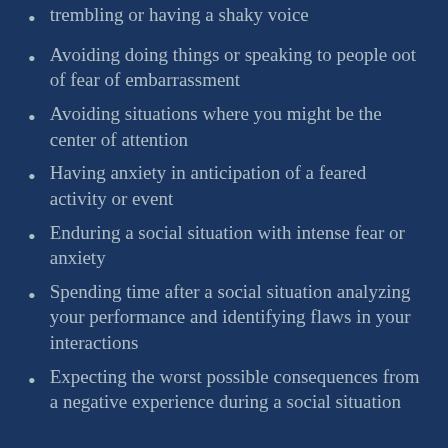trembling or having a shaky voice
Avoiding doing things or speaking to people oot of fear of embarrassment
Avoiding situations where you might be the center of attention
Having anxiety in anticipation of a feared activity or event
Enduring a social situation with intense fear or anxiety
Spending time after a social situation analyzing your performance and identifying flaws in your interactions
Expecting the worst possible consequences from a negative experience during a social situation